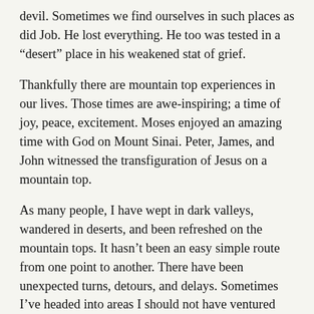devil.  Sometimes we find ourselves in such places as did Job.  He lost everything.  He too was tested in a “desert” place in his weakened stat of grief.
Thankfully there are mountain top experiences in our lives.  Those times are awe-inspiring; a time of joy, peace, excitement.  Moses enjoyed an amazing time with God on Mount Sinai. Peter, James, and John witnessed the transfiguration of Jesus on a mountain top.
As many people, I have wept in dark valleys, wandered in deserts, and been refreshed on the mountain tops. It hasn’t been an easy simple route from one point to another.  There have been unexpected turns, detours, and delays.  Sometimes I’ve headed into areas I should not have ventured into and sometimes God has let me go down an unpleasant road to test me or teach me.  And now, I can’t even remember my original plan or destination.  But it doesn’t matter; I know Jesus has been beside me all the